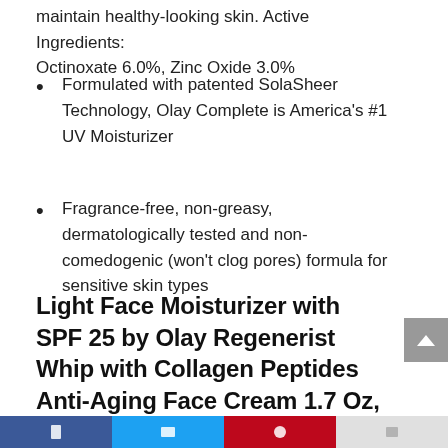maintain healthy-looking skin. Active Ingredients: Octinoxate 6.0%, Zinc Oxide 3.0%
Formulated with patented SolaSheer Technology, Olay Complete is America's #1 UV Moisturizer
Fragrance-free, non-greasy, dermatologically tested and non-comedogenic (won't clog pores) formula for sensitive skin types
Light Face Moisturizer with SPF 25 by Olay Regenerist Whip with Collagen Peptides Anti-Aging Face Cream 1.7 Oz, 2 Month Supply